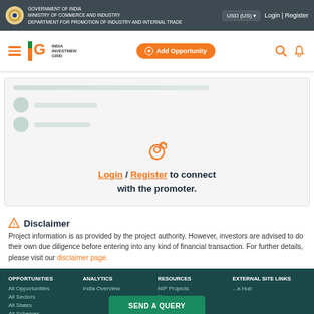GOVERNMENT OF INDIA
MINISTRY OF COMMERCE AND INDUSTRY
DEPARTMENT FOR PROMOTION OF INDUSTRY AND INTERNAL TRADE
[Figure (logo): India Investment Grid (IIG) logo with orange and green stripes]
Login / Register to connect with the promoter.
Disclaimer
Project information is as provided by the project authority. However, investors are advised to do their own due diligence before entering into any kind of financial transaction. For further details, please visit our disclaimer page.
OPPORTUNITIES: All Opportunities, All Sectors, All States, All Schemes | ANALYTICS: India Overview | RESOURCES: NIP Projects, No..., Str... | EXTERNAL SITE LINKS: ...Hub | SEND A QUERY